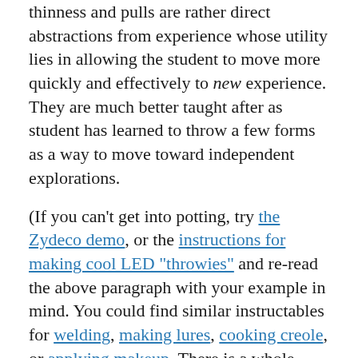thinness and pulls are rather direct abstractions from experience whose utility lies in allowing the student to move more quickly and effectively to new experience. They are much better taught after as student has learned to throw a few forms as a way to move toward independent explorations.
(If you can't get into potting, try the Zydeco demo, or the instructions for making cool LED "throwies" and re-read the above paragraph with your example in mind. You could find similar instructables for welding, making lures, cooking creole, or applying makeup. There is a whole DIY section for you to browse. Let your passions rule)